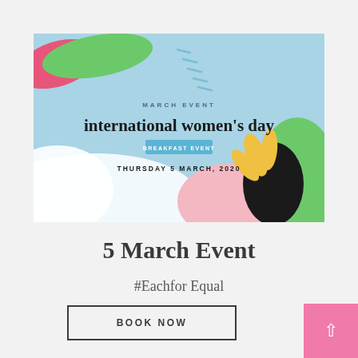[Figure (illustration): International Women's Day event banner with light blue background, abstract colorful shapes (pink, green blobs top-left, green and black floral illustration bottom-right, pink blob bottom-center), text 'MARCH EVENT', 'international women's day', 'BREAKFAST EVENT' button in blue, 'THURSDAY 5 MARCH, 2020']
5 March Event
#Eachfor Equal
BOOK NOW